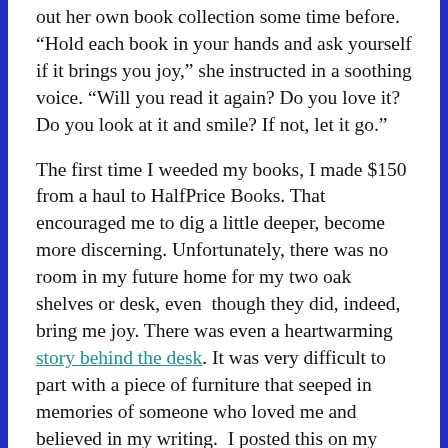out her own book collection some time before. “Hold each book in your hands and ask yourself if it brings you joy,” she instructed in a soothing voice. “Will you read it again? Do you love it? Do you look at it and smile? If not, let it go.”
The first time I weeded my books, I made $150 from a haul to HalfPrice Books. That encouraged me to dig a little deeper, become more discerning. Unfortunately, there was no room in my future home for my two oak shelves or desk, even  though they did, indeed, bring me joy. There was even a heartwarming story behind the desk. It was very difficult to part with a piece of furniture that seeped in memories of someone who loved me and believed in my writing.  I posted this on my Facebook page the day the desk sold: